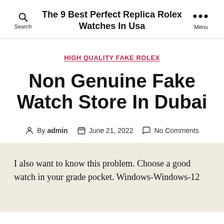The 9 Best Perfect Replica Rolex Watches In Usa
HIGH QUALITY FAKE ROLEX
Non Genuine Fake Watch Store In Dubai
By admin   June 21, 2022   No Comments
I also want to know this problem. Choose a good watch in your grade pocket. Windows-Windows-12